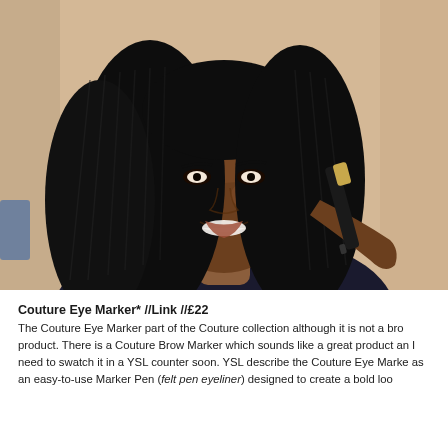[Figure (photo): A smiling Black woman with long braided hair holding up a black and gold makeup marker/eyeliner pen close to her eye. She is photographed against a warm beige/cream background.]
Couture Eye Marker* //Link //£22
The Couture Eye Marker part of the Couture collection although it is not a bro product. There is a Couture Brow Marker which sounds like a great product an I need to swatch it in a YSL counter soon. YSL describe the Couture Eye Marke as an easy-to-use Marker Pen (felt pen eyeliner) designed to create a bold loo